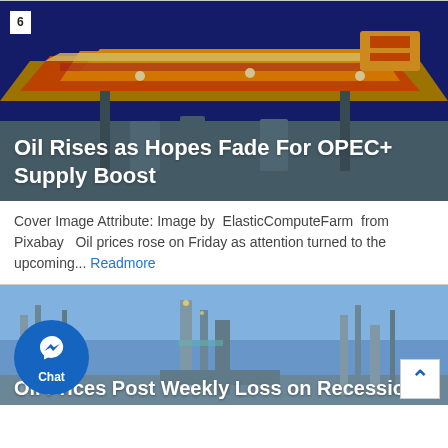[Figure (photo): Gas station at night with bright orange and yellow illuminated canopy roof against dark blue sky]
Oil Rises as Hopes Fade For OPEC+ Supply Boost
Cover Image Attribute: Image by ElasticComputeFarm from Pixabay Oil prices rose on Friday as attention turned to the upcoming... Readmore
[Figure (photo): Oil refinery or offshore platform at dusk/blue sky with industrial equipment]
Oil Prices Post Weekly Loss on Recession